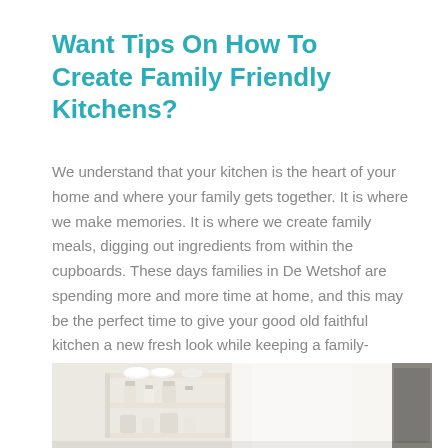Want Tips On How To Create Family Friendly Kitchens?
We understand that your kitchen is the heart of your home and where your family gets together. It is where we make memories. It is where we create family meals, digging out ingredients from within the cupboards. These days families in De Wetshof are spending more and more time at home, and this may be the perfect time to give your good old faithful kitchen a new fresh look while keeping a family-friendly design in mind and adding value to your home. So how do we do it?
[Figure (photo): Partial photo of a bright white kitchen interior with shelving, dishes, and containers visible at the bottom of the page.]